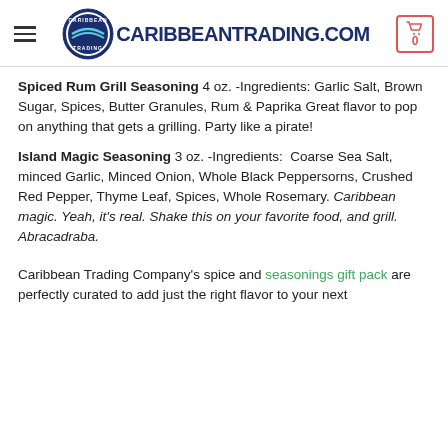CARIBBEANTRADING.COM
Spiced Rum Grill Seasoning 4 oz. -Ingredients: Garlic Salt, Brown Sugar, Spices, Butter Granules, Rum & Paprika Great flavor to pop on anything that gets a grilling. Party like a pirate!
Island Magic Seasoning 3 oz. -Ingredients: Coarse Sea Salt, minced Garlic, Minced Onion, Whole Black Peppersorns, Crushed Red Pepper, Thyme Leaf, Spices, Whole Rosemary. Caribbean magic. Yeah, it's real. Shake this on your favorite food, and grill. Abracadraba.
Caribbean Trading Company's spice and seasonings gift pack are perfectly curated to add just the right flavor to your next